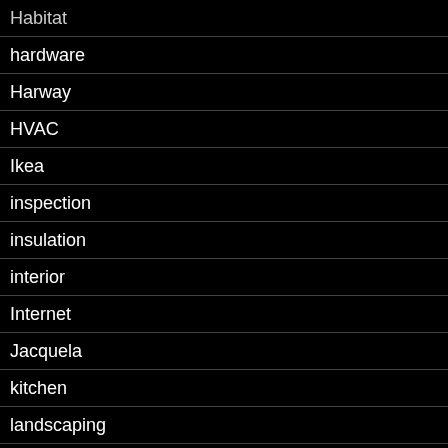Habitat
hardware
Harway
HVAC
Ikea
inspection
insulation
interior
Internet
Jacquela
kitchen
landscaping
laundry